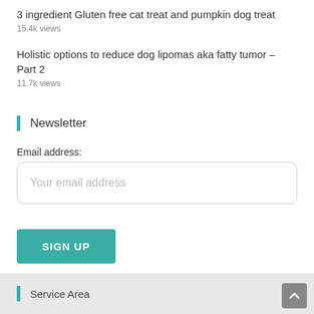3 ingredient Gluten free cat treat and pumpkin dog treat
15.4k views
Holistic options to reduce dog lipomas aka fatty tumor – Part 2
11.7k views
Newsletter
Email address:
Your email address
SIGN UP
Service Area